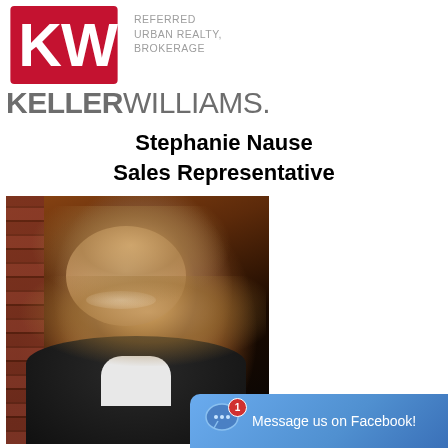[Figure (logo): Keller Williams KW logo with red KW emblem and REFERRED URBAN REALTY, BROKERAGE text, followed by KELLER WILLIAMS. wordmark in grey]
Stephanie Nause
Sales Representative
[Figure (photo): Professional headshot of Stephanie Nause, a blonde woman in a black blazer and white shirt, smiling, posed against a brick wall with dark background]
Message us on Facebook!